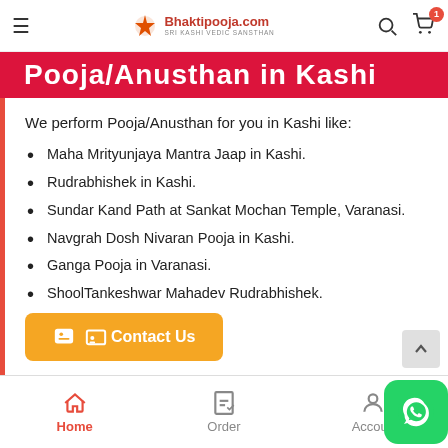Bhaktipooja.com — SRI KASHI VEDIC SANSTHAN
Pooja/Anusthan in Kashi
We perform Pooja/Anusthan for you in Kashi like:
Maha Mrityunjaya Mantra Jaap in Kashi.
Rudrabhishek in Kashi.
Sundar Kand Path at Sankat Mochan Temple, Varanasi.
Navgrah Dosh Nivaran Pooja in Kashi.
Ganga Pooja in Varanasi.
ShoolTankeshwar Mahadev Rudrabhishek.
Contact Us